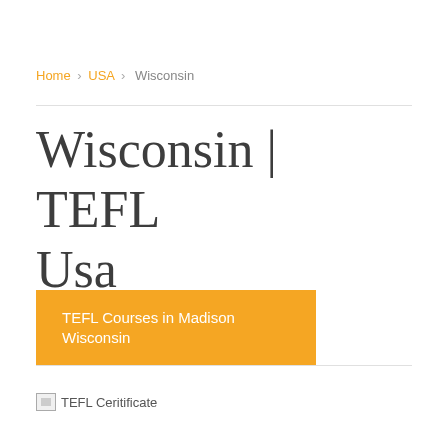Home > USA > Wisconsin
Wisconsin | TEFL Usa
TEFL Courses in Madison Wisconsin
[Figure (photo): Broken image placeholder labeled 'TEFL Ceritificate']